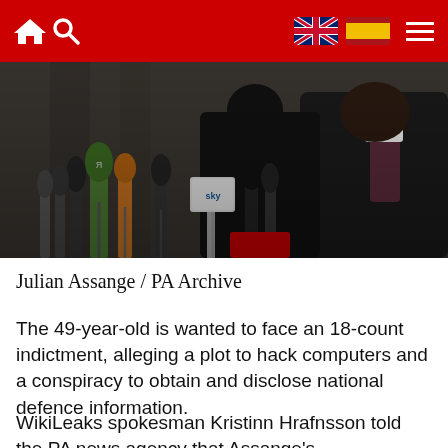Navigation bar with home, search, UK flag, Spain flag, and menu icons
[Figure (photo): Julian Assange standing at a podium surrounded by multiple microphones from various news organisations, wearing a dark suit with a patterned pink/red tie]
Julian Assange / PA Archive
The 49-year-old is wanted to face an 18-count indictment, alleging a plot to hack computers and a conspiracy to obtain and disclose national defence information.
WikiLeaks spokesman Kristinn Hrafnsson told the PA news agency that Assange's